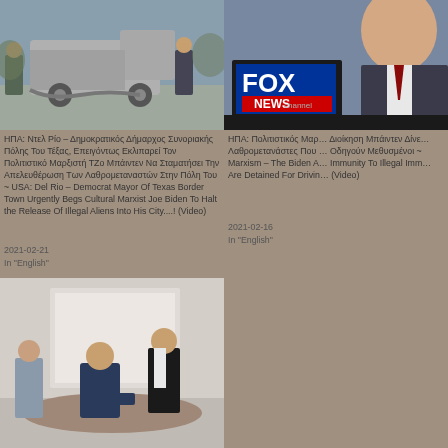[Figure (photo): Truck at border scene with people in background, outdoors]
[Figure (photo): Fox News channel logo overlay on person in suit, right column top]
ΗΠΑ: Ντελ Ρίο – Δημοκρατικός Δήμαρχος Συνοριακής Πόλης Του Τέξας, Επειγόντως Εκλιπαρεί Τον Πολιτιστικό Μαρξιστή ΤΖο Μπάιντεν Να Σταματήσει Την Απελευθέρωση Των Λαθρομεταναστών Στην Πόλη Του ~ USA: Del Rio – Democrat Mayor Of Texas Border Town Urgently Begs Cultural Marxist Joe Biden To Halt the Release Of Illegal Aliens Into His City....! (Video)
2021-02-21
In "English"
ΗΠΑ: Πολιτιστικός Μαρ… Διοίκηση Μπάιντεν Δίνε… Λαθρομετανάστες Που … Οδηγούν Μεθυσμένοι ~ Marxism – The Biden A… Immunity To Illegal Imm… Are Detained For Drivin… (Video)
2021-02-16
In "English"
[Figure (photo): People in a meeting room, one person bending over a table, others standing nearby]